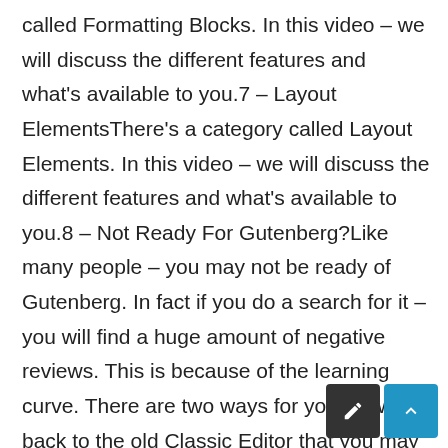called Formatting Blocks. In this video – we will discuss the different features and what's available to you.7 – Layout ElementsThere's a category called Layout Elements. In this video – we will discuss the different features and what's available to you.8 – Not Ready For Gutenberg?Like many people – you may not be ready of Gutenberg. In fact if you do a search for it – you will find a huge amount of negative reviews. This is because of the learning curve. There are two ways for you to switch back to the old Classic Editor that you may be used to.9 – More Editor OptionsBesides the Gutenberg and Classic editor, there are more editor options available commercially. We'll discuss your options here and our favorite editor of all tim
[Figure (other): Two UI buttons in bottom-right corner: a dark/black square button with a pencil/edit icon, and a blue square button with an upward chevron/arrow icon.]